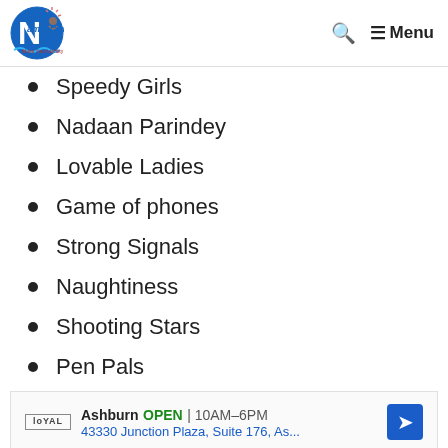NamesGuruji — Make Your Identity | Search | Menu
Speedy Girls
Nadaan Parindey
Lovable Ladies
Game of phones
Strong Signals
Naughtiness
Shooting Stars
Pen Pals
[Figure (screenshot): Advertisement box: Loyal logo, Ashburn OPEN 10AM-6PM, 43330 Junction Plaza, Suite 176, As..., direction arrow icon, play and close buttons]